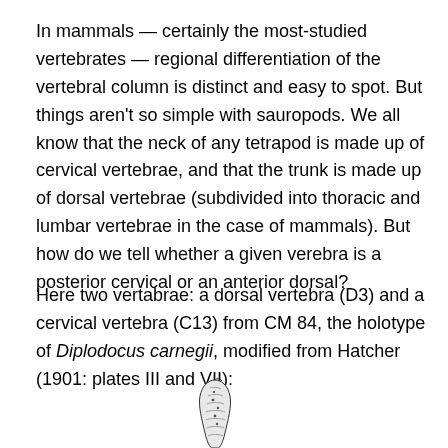In mammals — certainly the most-studied vertebrates — regional differentiation of the vertebral column is distinct and easy to spot. But things aren't so simple with sauropods. We all know that the neck of any tetrapod is made up of cervical vertebrae, and that the trunk is made up of dorsal vertebrae (subdivided into thoracic and lumbar vertebrae in the case of mammals). But how do we tell whether a given verebra is a posterior cervical or an anterior dorsal?
Here two vertabrae: a dorsal vertebra (D3) and a cervical vertebra (C13) from CM 84, the holotype of Diplodocus carnegii, modified from Hatcher (1901: plates III and VII):
[Figure (illustration): Partial illustration of a vertebra (bone), showing a narrow elongated structure with shading, visible at the bottom portion of the page.]